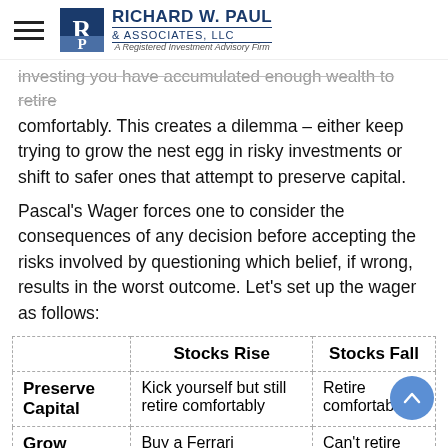Richard W. Paul & Associates, LLC — A Registered Investment Advisory Firm
investing you have accumulated enough wealth to retire comfortably. This creates a dilemma – either keep trying to grow the nest egg in risky investments or shift to safer ones that attempt to preserve capital.
Pascal's Wager forces one to consider the consequences of any decision before accepting the risks involved by questioning which belief, if wrong, results in the worst outcome. Let's set up the wager as follows:
|  | Stocks Rise | Stocks Fall |
| --- | --- | --- |
| Preserve Capital | Kick yourself but still retire comfortably | Retire comfortably |
| Grow | Buy a Ferrari | Can't retire |